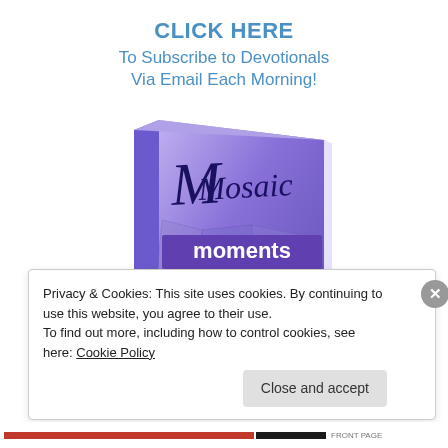CLICK HERE
To Subscribe to Devotionals
Via Email Each Morning!
[Figure (illustration): Book cover of 'Mosaic Moments - Devotionals for the Chronically Ill' by Lisa J. Copen, with purple/lavender color scheme and mosaic tile design]
Privacy & Cookies: This site uses cookies. By continuing to use this website, you agree to their use.
To find out more, including how to control cookies, see here: Cookie Policy
Close and accept